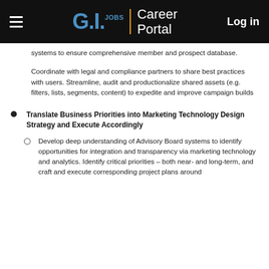G.I. Jobs | Career Portal — Log in
systems to ensure comprehensive member and prospect database.
Coordinate with legal and compliance partners to share best practices with users. Streamline, audit and productionalize shared assets (e.g. filters, lists, segments, content) to expedite and improve campaign builds
Translate Business Priorities into Marketing Technology Design Strategy and Execute Accordingly
Develop deep understanding of Advisory Board systems to identify opportunities for integration and transparency via marketing technology and analytics. Identify critical priorities – both near- and long-term, and craft and execute corresponding project plans around